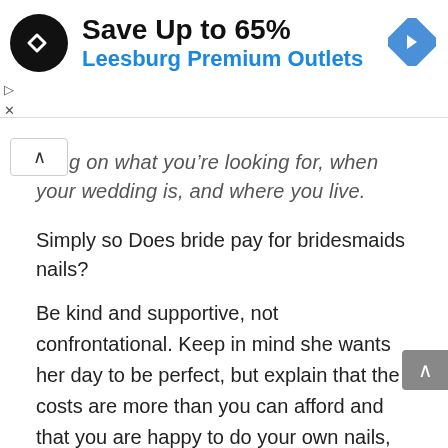[Figure (other): Advertisement banner: Save Up to 65% Leesburg Premium Outlets with logo and arrow icon]
…ding on what you're looking for, when your wedding is, and where you live.
Simply so Does bride pay for bridesmaids nails?
Be kind and supportive, not confrontational. Keep in mind she wants her day to be perfect, but explain that the costs are more than you can afford and that you are happy to do your own nails, hair and makeup. Often, the bride will pay for one of the services and ask you to pay for the other.
Likewise, Do brides get hair or makeup done first?